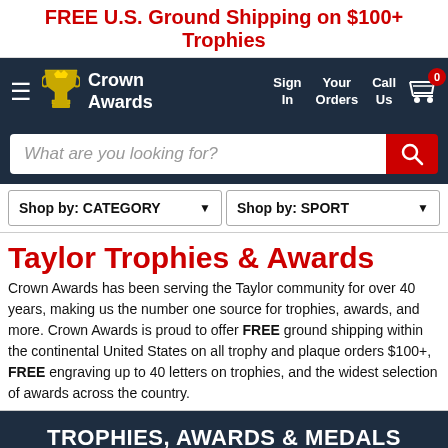FREE U.S. Ground Shipping on $100+ Trophies
[Figure (screenshot): Crown Awards navigation bar with logo, Sign In, Your Orders, Call Us, and cart icon with 0 badge]
[Figure (screenshot): Search bar with placeholder 'What are you looking for?' and red search button]
[Figure (screenshot): Two dropdown menus: Shop by: CATEGORY and Shop by: SPORT]
Taylor Trophies & Awards
Crown Awards has been serving the Taylor community for over 40 years, making us the number one source for trophies, awards, and more. Crown Awards is proud to offer FREE ground shipping within the continental United States on all trophy and plaque orders $100+, FREE engraving up to 40 letters on trophies, and the widest selection of awards across the country.
TROPHIES, AWARDS & MEDALS
with Guaranteed Lowest Prices